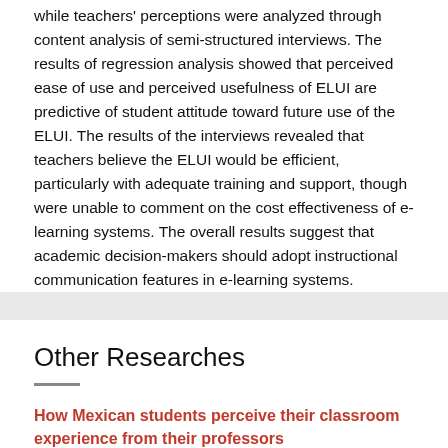while teachers' perceptions were analyzed through content analysis of semi-structured interviews. The results of regression analysis showed that perceived ease of use and perceived usefulness of ELUI are predictive of student attitude toward future use of the ELUI. The results of the interviews revealed that teachers believe the ELUI would be efficient, particularly with adequate training and support, though were unable to comment on the cost effectiveness of e-learning systems. The overall results suggest that academic decision-makers should adopt instructional communication features in e-learning systems.
Other Researches
How Mexican students perceive their classroom experience from their professors
What relationships exist between Mexican students and their professors? This paper compares student expectations with